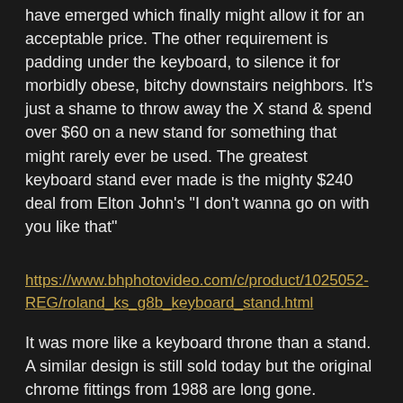have emerged which finally might allow it for an acceptable price.  The other requirement is padding under the keyboard, to silence it for morbidly obese, bitchy downstairs neighbors.  It's just a shame to throw away the X stand & spend over $60 on a new stand for something that might rarely ever be used.  The greatest keyboard stand ever made is the mighty $240 deal from Elton John's "I don't wanna go on with you like that"
https://www.bhphotovideo.com/c/product/1025052-REG/roland_ks_g8b_keyboard_stand.html
It was more like a keyboard throne than a stand.  A similar design is still sold today but the original chrome fittings from 1988 are long gone.